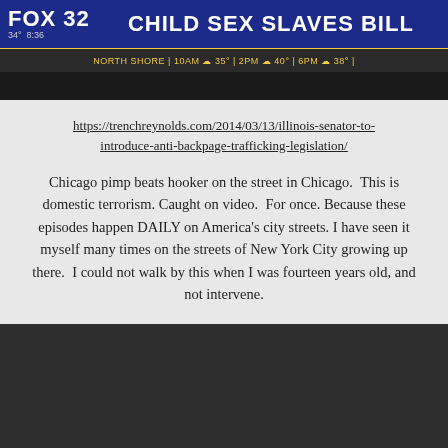[Figure (screenshot): Fox 32 TV news screenshot showing headline 'CHILD SEX SLAVES BILL' with weather bar showing NORTH SHORE 10AM 35° 2PM 40° 6PM 38°]
https://trenchreynolds.com/2014/03/13/illinois-senator-to-introduce-anti-backpage-trafficking-legislation/
Chicago pimp beats hooker on the street in Chicago.  This is domestic terrorism. Caught on video.  For once. Because these episodes happen DAILY on America's city streets. I have seen it myself many times on the streets of New York City growing up there.  I could not walk by this when I was fourteen years old, and not intervene.
[Figure (screenshot): YouTube video removed notice: 'This video has been removed for violating YouTube's Terms of Service' with exclamation circle icon on dark background]